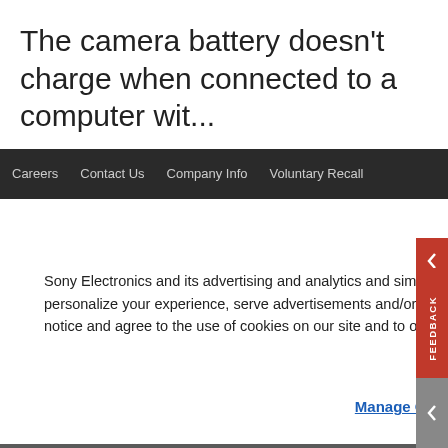The camera battery doesn't charge when connected to a computer wit...
Careers   Contact Us   Company Info   Voluntary Recall
Sony Electronics and its advertising and analytics and similar partners use cookies to operate this website, personalize your experience, serve advertisements and/or analyze traffic. By using our site, you acknowledge this notice and agree to the use of cookies on our site and to our Privacy Policy.
Manage Cookies